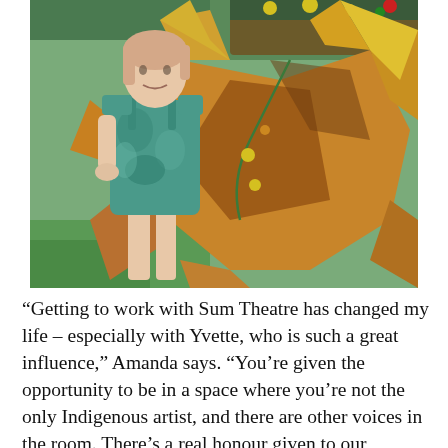[Figure (photo): A woman wearing a teal/green tie-dye overall dress stands outdoors next to a large metallic star-shaped sculpture with yellow and rust/brown tones. The sculpture has flowers and plants growing from it. Green grass is visible in the background.]
“Getting to work with Sum Theatre has changed my life – especially with Yvette, who is such a great influence,” Amanda says. “You’re given the opportunity to be in a space where you’re not the only Indigenous artist, and there are other voices in the room. There’s a real honour given to our opinions